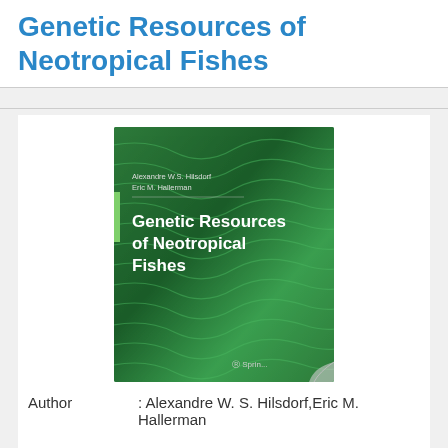Genetic Resources of Neotropical Fishes
[Figure (photo): Book cover of 'Genetic Resources of Neotropical Fishes' by Alexandre W.S. Hilsdorf and Eric M. Hallerman, published by Springer. The cover features a green background with fish scale or wave-like patterns, with the authors' names and book title displayed in white text.]
Author : Alexandre W. S. Hilsdorf,Eric M. Hallerman